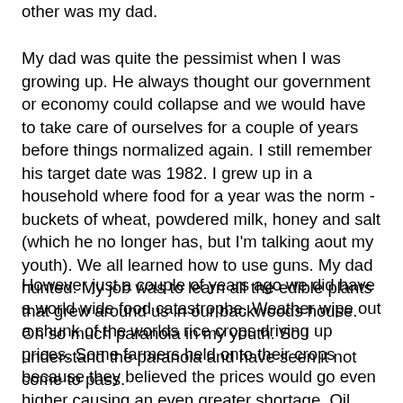other was my dad.
My dad was quite the pessimist when I was growing up. He always thought our government or economy could collapse and we would have to take care of ourselves for a couple of years before things normalized again. I still remember his target date was 1982. I grew up in a household where food for a year was the norm -buckets of wheat, powdered milk, honey and salt (which he no longer has, but I'm talking aout my youth). We all learned how to use guns. My dad hunted. My job was to learn all the edible plants that grew around us in our backwoods house. Oh so much paranoia in my youth. So I understand the paranoia and have seen it not come to pass.
However just a couple of years ago we did have a world wide food catastrophe. Weather wipe out a chunk of the worlds rice crops driving up prices. Some farmers held onto their crops because they believed the prices would go even higher causing an even greater shortage. Oil prices hit a record high (required for how we make food today). Ethanol programs made the price of corn skyrocket. Stem rust in wheat was spreading. We had record high population (as we